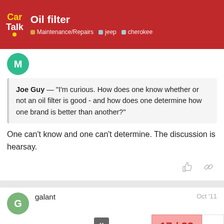Oil filter — Maintenance/Repairs · jeep · cherokee
Joe Guy — "I'm curious. How does one know whether or not an oil filter is good - and how does one determine how one brand is better than another?"
One can't know and one can't determine. The discussion is hearsay.
galant  Oct '11
17 / 22